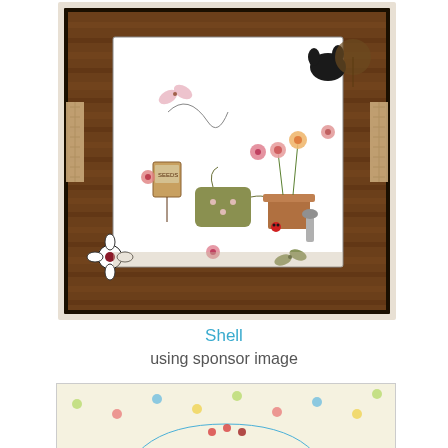[Figure (photo): Handmade craft greeting card with garden theme: wood-grain brown frame, white interior panel with stamped/colored images of a watering can, flower pot with blooms, butterflies, a cat, seed packet sign, and decorative flowers. Overlaid text reads 'Created by Victoria'.]
Shell
using sponsor image
[Figure (photo): Partial view of a handmade craft card featuring colorful elements including red, blue, and yellow embellishments on a light polka-dot background with a blue arch shape.]